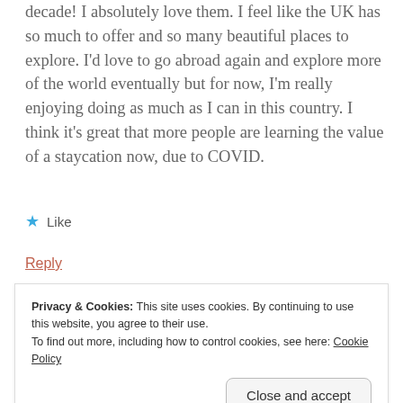decade! I absolutely love them. I feel like the UK has so much to offer and so many beautiful places to explore. I'd love to go abroad again and explore more of the world eventually but for now, I'm really enjoying doing as much as I can in this country. I think it's great that more people are learning the value of a staycation now, due to COVID.
★ Like
Reply
Castlesandturrets
Privacy & Cookies: This site uses cookies. By continuing to use this website, you agree to their use.
To find out more, including how to control cookies, see here: Cookie Policy
Close and accept
you said, there are so many beautiful places to